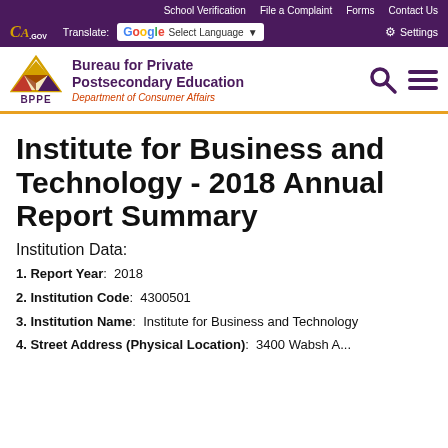School Verification  File a Complaint  Forms  Contact Us
Translate: [Select Language] Settings
[Figure (logo): BPPE - Bureau for Private Postsecondary Education, Department of Consumer Affairs logo with triangular mountain graphic]
Institute for Business and Technology - 2018 Annual Report Summary
Institution Data:
1. Report Year:   2018
2. Institution Code:   4300501
3. Institution Name:   Institute for Business and Technology
4. Street Address (Physical Location):   3400 Wabsh A...